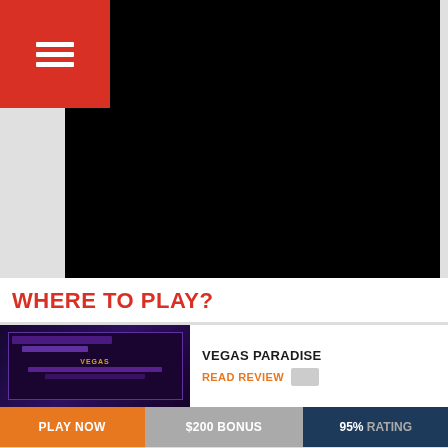[Figure (screenshot): Navigation menu hamburger icon on red background]
[Figure (screenshot): Black video/media player area]
WHERE TO PLAY?
[Figure (screenshot): Vegas Paradise casino thumbnail showing dark purple casino interface]
VEGAS PARADISE
READ REVIEW
PLAY NOW | $200 BONUS | 95% RATING
[Figure (screenshot): BGO Casino thumbnail showing Beat the Boss promotional image with man in tuxedo]
BGO CASINO
READ REVIEW